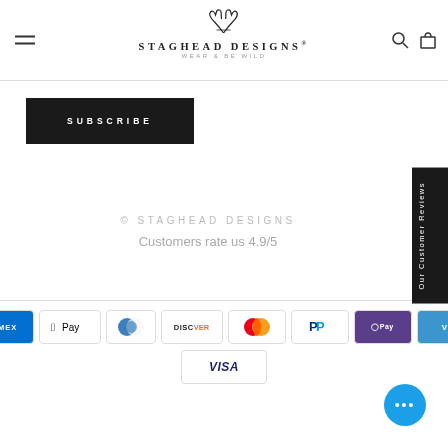STAGHEAD DESIGNS WEAR & BE WILD
SUBSCRIBE
© STAGHEAD DESIGNS
Customers rate us 4.9/5
[Figure (logo): Payment method icons: Amex, Apple Pay, Diners Club, Discover, Mastercard, PayPal, Shop Pay, Venmo, Visa]
Our Customer Reviews